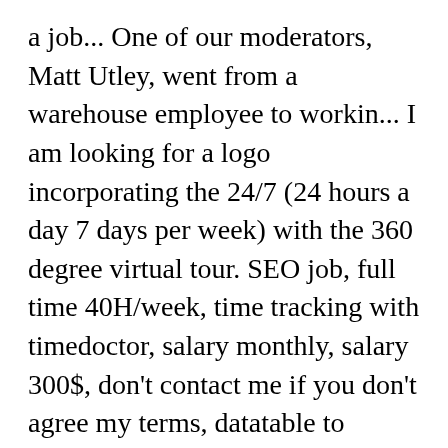a job... One of our moderators, Matt Utley, went from a warehouse employee to workin... I am looking for a logo incorporating the 24/7 (24 hours a day 7 days per week) with the 360 degree virtual tour. SEO job, full time 40H/week, time tracking with timedoctor, salary monthly, salary 300$, don't contact me if you don't agree my terms, datatable to widget task for unreal engine developer, Looking for a part time European developer, Nodejs Developer to deploy a React web app. Submit a Job. Experience in design and development of Identity and Access Management Software Developers at IBM are the backbone of our strategic initiatives to design, code, test, and provide industry-leading solutions that make